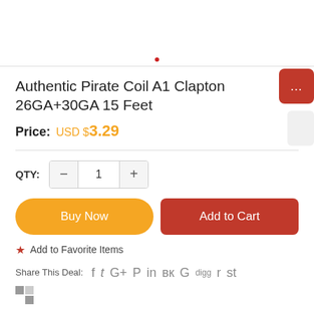Authentic Pirate Coil A1 Clapton 26GA+30GA 15 Feet
Price: USD $3.29
QTY: 1
Buy Now
Add to Cart
Add to Favorite Items
Share This Deal: